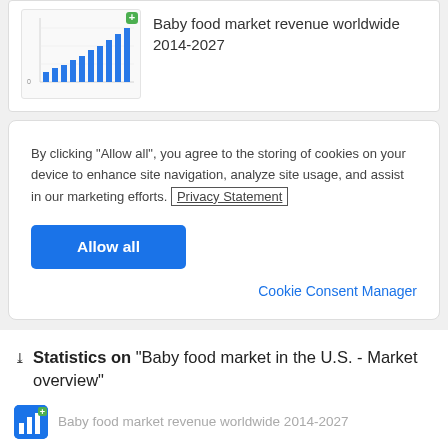[Figure (bar-chart): Thumbnail bar chart — Baby food market revenue worldwide 2014-2027]
Baby food market revenue worldwide 2014-2027
By clicking “Allow all”, you agree to the storing of cookies on your device to enhance site navigation, analyze site usage, and assist in our marketing efforts. Privacy Statement
Allow all
Cookie Consent Manager
Statistics on "Baby food market in the U.S. - Market overview"
Baby food market revenue worldwide 2014-2027